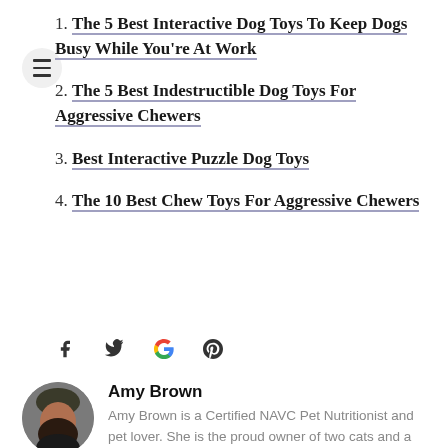1. The 5 Best Interactive Dog Toys To Keep Dogs Busy While You're At Work
2. The 5 Best Indestructible Dog Toys For Aggressive Chewers
3. Best Interactive Puzzle Dog Toys
4. The 10 Best Chew Toys For Aggressive Chewers
[Figure (other): Social media share icons: Facebook, Twitter, Google, Pinterest]
[Figure (photo): Circular author photo of Amy Brown]
Amy Brown
Amy Brown is a Certified NAVC Pet Nutritionist and pet lover. She is the proud owner of two cats and a dog and her love for animals has led her to a successful